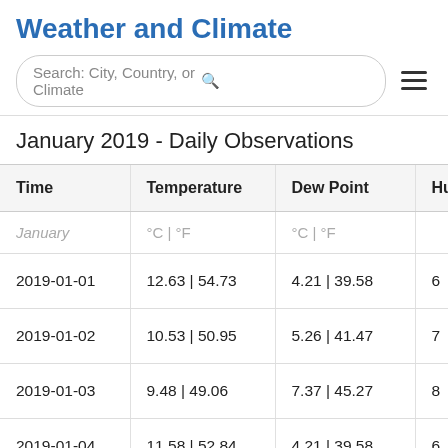Weather and Climate
Search: City, Country, or Climate
January 2019 - Daily Observations
| Time | Temperature | Dew Point | Hum |
| --- | --- | --- | --- |
| January | °C | °F | °C | °F |  |
| 2019-01-01 | 12.63 | 54.73 | 4.21 | 39.58 | 6 |
| 2019-01-02 | 10.53 | 50.95 | 5.26 | 41.47 | 7 |
| 2019-01-03 | 9.48 | 49.06 | 7.37 | 45.27 | 8 |
| 2019-01-04 | 11.58 | 52.84 | 4.21 | 39.58 | 6 |